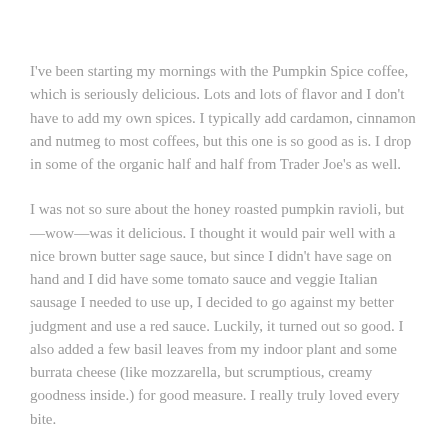I've been starting my mornings with the Pumpkin Spice coffee, which is seriously delicious. Lots and lots of flavor and I don't have to add my own spices. I typically add cardamon, cinnamon and nutmeg to most coffees, but this one is so good as is. I drop in some of the organic half and half from Trader Joe's as well.
I was not so sure about the honey roasted pumpkin ravioli, but—wow—was it delicious. I thought it would pair well with a nice brown butter sage sauce, but since I didn't have sage on hand and I did have some tomato sauce and veggie Italian sausage I needed to use up, I decided to go against my better judgment and use a red sauce. Luckily, it turned out so good. I also added a few basil leaves from my indoor plant and some burrata cheese (like mozzarella, but scrumptious, creamy goodness inside.) for good measure. I really truly loved every bite.